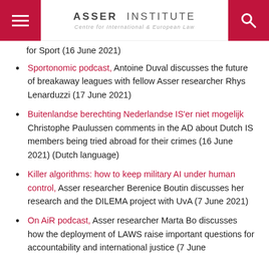Asser Institute — Centre for International & European Law
for Sport (16 June 2021)
Sportonomic podcast, Antoine Duval discusses the future of breakaway leagues with fellow Asser researcher Rhys Lenarduzzi (17 June 2021)
Buitenlandse berechting Nederlandse IS'er niet mogelijk Christophe Paulussen comments in the AD about Dutch IS members being tried abroad for their crimes (16 June 2021) (Dutch language)
Killer algorithms: how to keep military AI under human control, Asser researcher Berenice Boutin discusses her research and the DILEMA project with UvA (7 June 2021)
On AiR podcast, Asser researcher Marta Bo discusses how the deployment of LAWS raise important questions for accountability and international justice (7 June